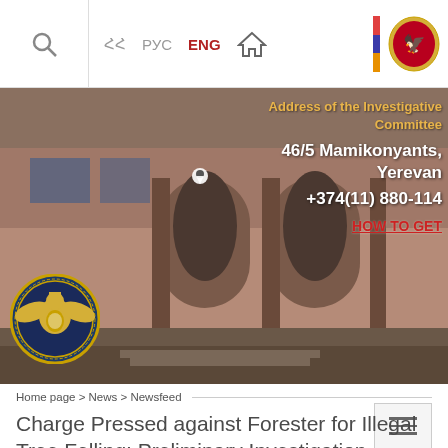Search | ՀՀ | РУС | ENG | Home
[Figure (photo): Exterior of the Investigative Committee building in Yerevan — stone arched facade]
Address of the Investigative Committee
46/5 Mamikonyants, Yerevan
+374(11) 880-114
HOW TO GET
Home page > News > Newsfeed
Charge Pressed against Forester for Illegal Tree Felling; Preliminary Investigation Completed